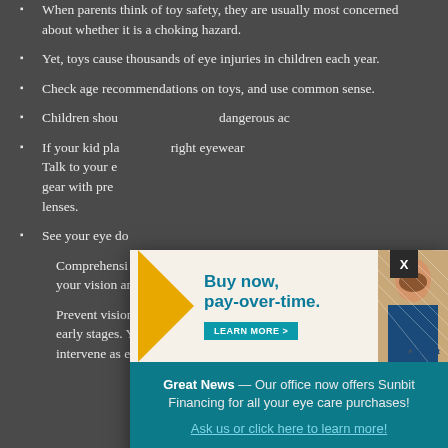When parents think of toy safety, they are usually most concerned about whether it is a choking hazard.
Yet, toys cause thousands of eye injuries in children each year.
Check age recommendations on toys, and use common sense.
Children shou[ld not use toys that involve dangerous ac[tivities...
If your kid pla[ys sports that require the right eyewear... Talk to your e[ye doctor about getting gear with pre[scription lenses.
See your eye do[ctor regularly...
Comprehensi[ve eye exams — at your eye check-up, your optometrist will examine your vision and eyes.
Prevent vision loss by catching a developing eye condition in its early stages. Your eye doctor will monitor its progression and intervene as early as possible.
[Figure (infographic): Sunbit financing advertisement banner with 'Buy now, pay-over-time.' headline and a person image. Below is a teal modal with text: 'Great News — Our office now offers Sunbit Financing for all your eye care purchases! Ask us or click here to learn more!']